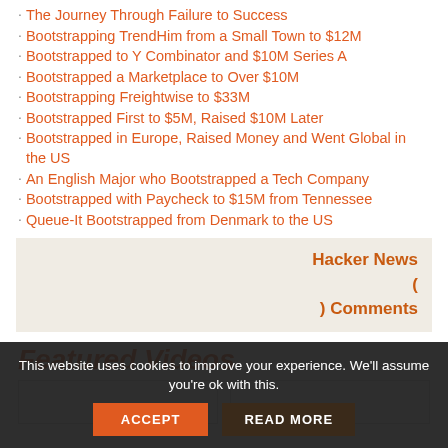The Journey Through Failure to Success
Bootstrapping TrendHim from a Small Town to $12M
Bootstrapped to Y Combinator and $10M Series A
Bootstrapped a Marketplace to Over $10M
Bootstrapping Freightwise to $33M
Bootstrapped First to $5M, Raised $10M Later
Bootstrapped in Europe, Raised Money and Went Global in the US
An English Major who Bootstrapped a Tech Company
Bootstrapped with Paycheck to $15M from Tennessee
Queue-It Bootstrapped from Denmark to the US
Hacker News ( ) Comments
Featured Videos
This website uses cookies to improve your experience. We'll assume you're ok with this.